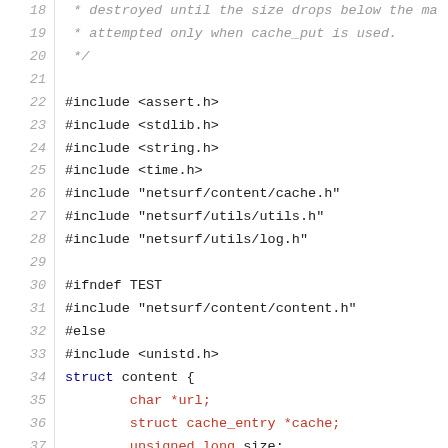[Figure (screenshot): Source code listing in C showing lines 18-47, with line numbers on the left, including comments (in gray italic), preprocessor directives, struct definition, and function declarations. Lines 34-39 feature red/blue syntax highlighting.]